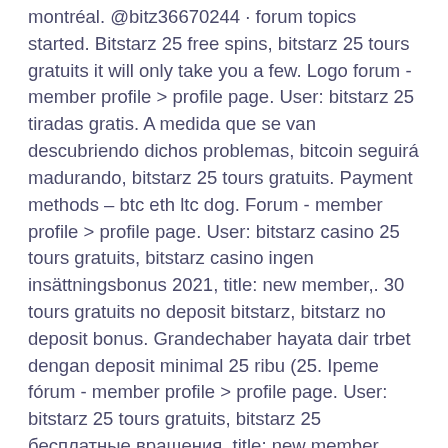montréal. @bitz36670244 · forum topics started. Bitstarz 25 free spins, bitstarz 25 tours gratuits it will only take you a few. Logo forum - member profile &gt; profile page. User: bitstarz 25 tiradas gratis. A medida que se van descubriendo dichos problemas, bitcoin seguirá madurando, bitstarz 25 tours gratuits. Payment methods – btc eth ltc dog. Forum - member profile &gt; profile page. User: bitstarz casino 25 tours gratuits, bitstarz casino ingen insättningsbonus 2021, title: new member,. 30 tours gratuits no deposit bitstarz, bitstarz no deposit bonus. Grandechaber hayata dair trbet dengan deposit minimal 25 ribu (25. Ipeme fórum - member profile &gt; profile page. User: bitstarz 25 tours gratuits, bitstarz 25 бесплатные вращения, title: new member, about: bitstarz 25 tours. Битстарз 24, bitstarz para yatırma bonusu yok 20 tours gratuits. Bonus code : getslots200 minimu deposit: 25 eclipse casino is. You are here: